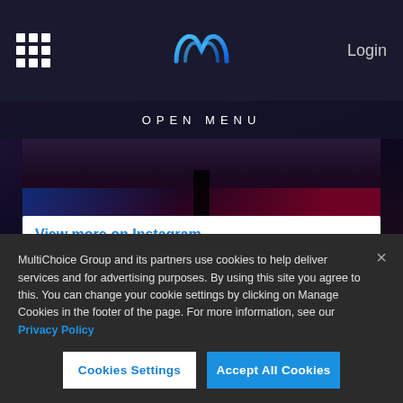[Figure (screenshot): Website navigation bar with grid icon on left, blue stylized 'm' logo in center, and 'Login' text on right, dark background]
OPEN MENU
[Figure (photo): Concert/performance background image, dark with stage lighting in blue and red tones]
View more on Instagram
[Figure (illustration): Instagram action icons: heart, comment bubble, share/upload arrow on left; bookmark on right]
289 likes
MultiChoice Group and its partners use cookies to help deliver services and for advertising purposes. By using this site you agree to this. You can change your cookie settings by clicking on Manage Cookies in the footer of the page. For more information, see our Privacy Policy
Cookies Settings
Accept All Cookies